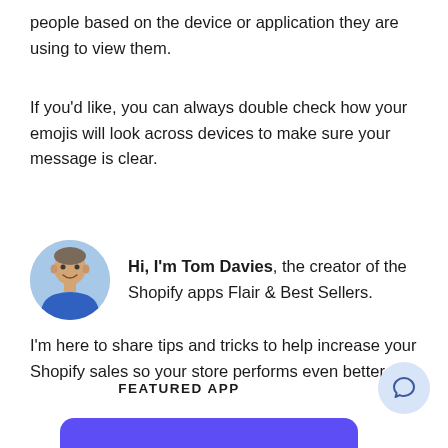people based on the device or application they are using to view them.
If you'd like, you can always double check how your emojis will look across devices to make sure your message is clear.
[Figure (photo): Circular avatar photo of Tom Davies, a man in a blue shirt smiling outdoors.]
Hi, I'm Tom Davies, the creator of the Shopify apps Flair & Best Sellers.
I'm here to share tips and tricks to help increase your Shopify sales so your store performs even better.
FEATURED APP
[Figure (illustration): Partial view of a purple/violet rounded rectangle app banner at the bottom of the page.]